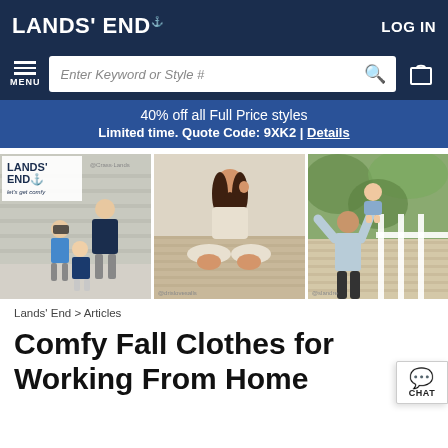LANDS' END | LOG IN
Enter Keyword or Style #
40% off all Full Price styles
Limited time. Quote Code: 9XK2 | Details
[Figure (photo): Three lifestyle photos: (1) Lands' End catalog cover showing a mother and two children sitting outside; (2) A woman in beige loungewear sitting cross-legged; (3) A mother lifting a baby on a wooden deck.]
Lands' End > Articles
Comfy Fall Clothes for Working From Home